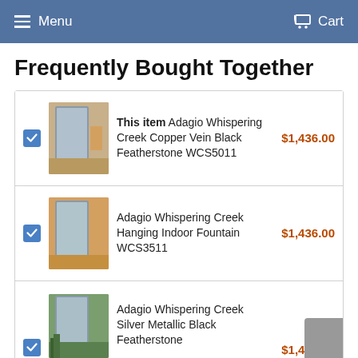Menu  Cart
Frequently Bought Together
This item Adagio Whispering Creek Copper Vein Black Featherstone WCS5011  $1,436.00
Adagio Whispering Creek Hanging Indoor Fountain WCS3511  $1,436.00
Adagio Whispering Creek Silver Metallic Black Featherstone ...  $1,436.00